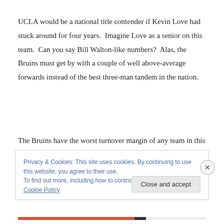UCLA would be a national title contender if Kevin Love had stuck around for four years.  Imagine Love as a senior on this team.  Can you say Bill Walton-like numbers?  Alas, the Bruins must get by with a couple of well above-average forwards instead of the best three-man tandem in the nation.
The Bruins have the worst turnover margin of any team in this
Privacy & Cookies: This site uses cookies. By continuing to use this website, you agree to their use.
To find out more, including how to control cookies, see here: Cookie Policy